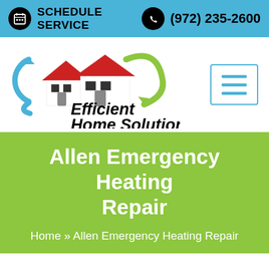SCHEDULE SERVICE  (972) 235-2600
[Figure (logo): Efficient Home Solutions logo with house icon, blue arrows, green arrow, and tagline 'Trusted Care For Your Heat & Air']
Allen Emergency Heating Repair
Home » Allen Emergency Heating Repair